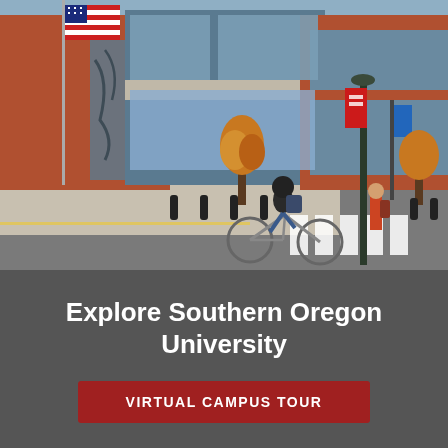[Figure (photo): Outdoor photo of Southern Oregon University campus showing a modern brick and glass building with large windows. An American flag is visible on the left. A student on a bicycle is crossing a crosswalk in the foreground. Another person stands on the sidewalk. Trees in autumn foliage, street lamps, and university banners (red and blue) adorn a light pole in the center. The road and sidewalk area are visible.]
Explore Southern Oregon University
VIRTUAL CAMPUS TOUR